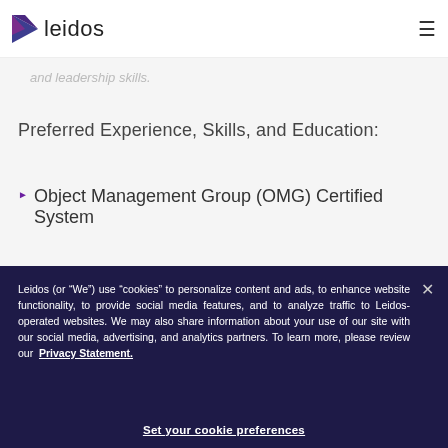leidos
and leadership skills.
Preferred Experience, Skills, and Education:
Object Management Group (OMG) Certified System
Leidos (or “We”) use “cookies” to personalize content and ads, to enhance website functionality, to provide social media features, and to analyze traffic to Leidos-operated websites. We may also share information about your use of our site with our social media, advertising, and analytics partners. To learn more, please review our Privacy Statement.
Set your cookie preferences